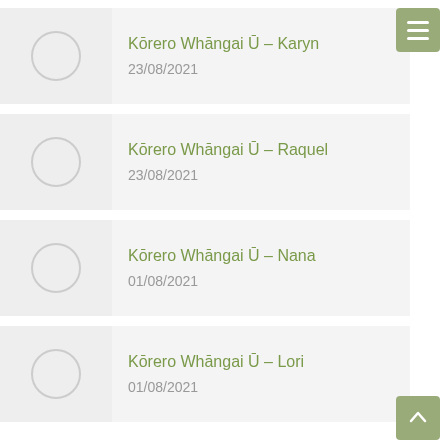Kōrero Whāngai Ū – Karyn
23/08/2021
Kōrero Whāngai Ū – Raquel
23/08/2021
Kōrero Whāngai Ū – Nana
01/08/2021
Kōrero Whāngai Ū – Lori
01/08/2021